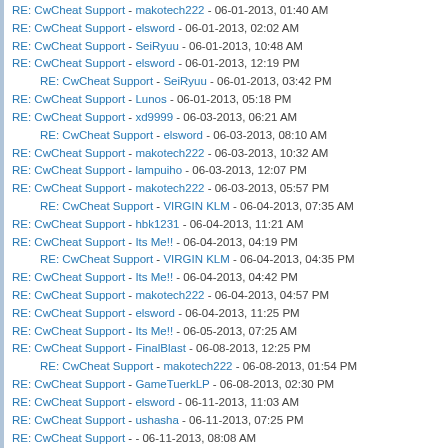RE: CwCheat Support - makotech222 - 06-01-2013, 01:40 AM
RE: CwCheat Support - elsword - 06-01-2013, 02:02 AM
RE: CwCheat Support - SeiRyuu - 06-01-2013, 10:48 AM
RE: CwCheat Support - elsword - 06-01-2013, 12:19 PM
RE: CwCheat Support - SeiRyuu - 06-01-2013, 03:42 PM
RE: CwCheat Support - Lunos - 06-01-2013, 05:18 PM
RE: CwCheat Support - xd9999 - 06-03-2013, 06:21 AM
RE: CwCheat Support - elsword - 06-03-2013, 08:10 AM
RE: CwCheat Support - makotech222 - 06-03-2013, 10:32 AM
RE: CwCheat Support - lampuiho - 06-03-2013, 12:07 PM
RE: CwCheat Support - makotech222 - 06-03-2013, 05:57 PM
RE: CwCheat Support - VIRGIN KLM - 06-04-2013, 07:35 AM
RE: CwCheat Support - hbk1231 - 06-04-2013, 11:21 AM
RE: CwCheat Support - Its Me!! - 06-04-2013, 04:19 PM
RE: CwCheat Support - VIRGIN KLM - 06-04-2013, 04:35 PM
RE: CwCheat Support - Its Me!! - 06-04-2013, 04:42 PM
RE: CwCheat Support - makotech222 - 06-04-2013, 04:57 PM
RE: CwCheat Support - elsword - 06-04-2013, 11:25 PM
RE: CwCheat Support - Its Me!! - 06-05-2013, 07:25 AM
RE: CwCheat Support - FinalBlast - 06-08-2013, 12:25 PM
RE: CwCheat Support - makotech222 - 06-08-2013, 01:54 PM
RE: CwCheat Support - GameTuerkLP - 06-08-2013, 02:30 PM
RE: CwCheat Support - elsword - 06-11-2013, 11:03 AM
RE: CwCheat Support - ushasha - 06-11-2013, 07:25 PM
RE: CwCheat Support - ...